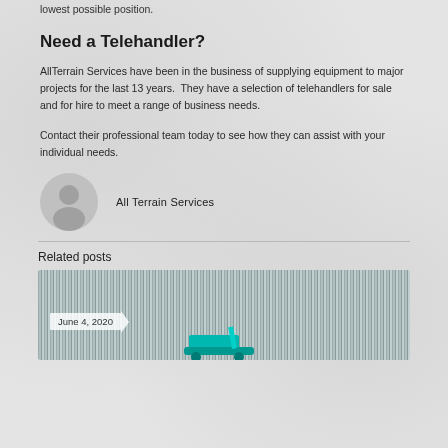lowest possible position.
Need a Telehandler?
AllTerrain Services have been in the business of supplying equipment to major projects for the last 13 years.  They have a selection of telehandlers for sale and for hire to meet a range of business needs.
Contact their professional team today to see how they can assist with your individual needs.
All Terrain Services
Related posts
[Figure (photo): A related post thumbnail image with a metallic corrugated panel background and teal-colored equipment visible at the bottom. A date badge reading 'June 4, 2020' is overlaid on the lower left of the image.]
June 4, 2020